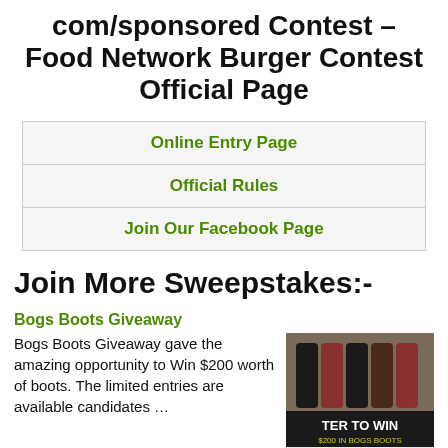com/sponsored Contest – Food Network Burger Contest Official Page
Online Entry Page
Official Rules
Join Our Facebook Page
Join More Sweepstakes:-
Bogs Boots Giveaway
Bogs Boots Giveaway gave the amazing opportunity to Win $200 worth of boots. The limited entries are available candidates …
[Figure (photo): Advertisement image for Bogs Boots Giveaway showing boots with text 'TER TO WIN $200 IN BOGS BOOTS']